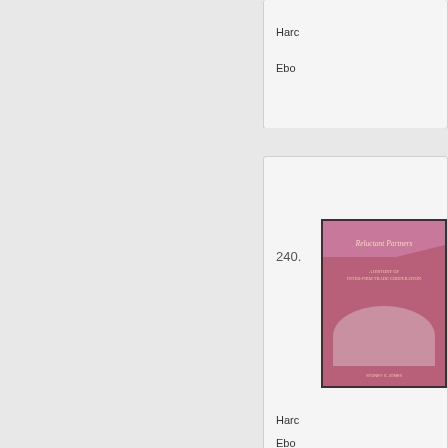Hardcover
Ebook
240.
[Figure (illustration): Book cover of 'Reluctant Partners' with pink/mauve background and subtitle about inter-firm trade cooperation]
Re...
A h...
An...
Ex... and...
Hardcover
Ebook
241.
[Figure (illustration): Book cover of 'Worldly Provincialism: German Anthropology in the Age of Empire' with dark background and gold text]
W...
Ge...
H....
Illu... and...